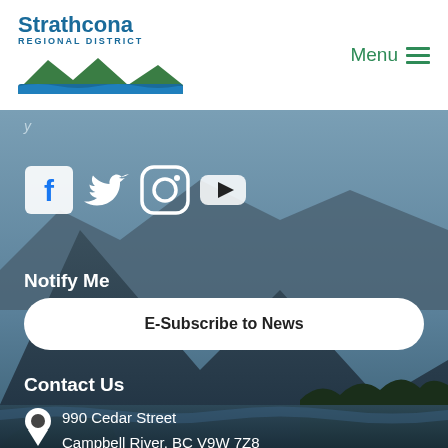Strathcona Regional District | Menu
[Figure (logo): Strathcona Regional District logo with mountain and river illustration]
[Figure (illustration): Social media icons: Facebook, Twitter, Instagram, YouTube]
Notify Me
E-Subscribe to News
Contact Us
990 Cedar Street
Campbell River, BC V9W 7Z8
8:30 am - 4:30 pm Monday - Friday
Closed statutory holidays.